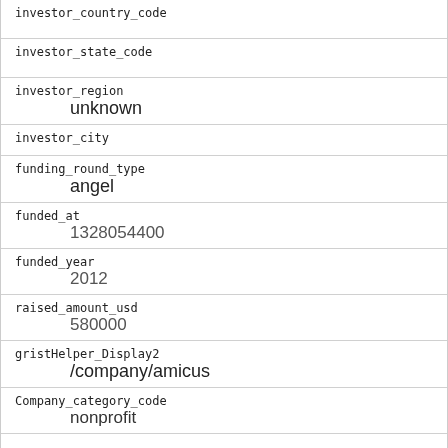| field | value |
| --- | --- |
| investor_country_code |  |
| investor_state_code |  |
| investor_region | unknown |
| investor_city |  |
| funding_round_type | angel |
| funded_at | 1328054400 |
| funded_year | 2012 |
| raised_amount_usd | 580000 |
| gristHelper_Display2 | /company/amicus |
| Company_category_code | nonprofit |